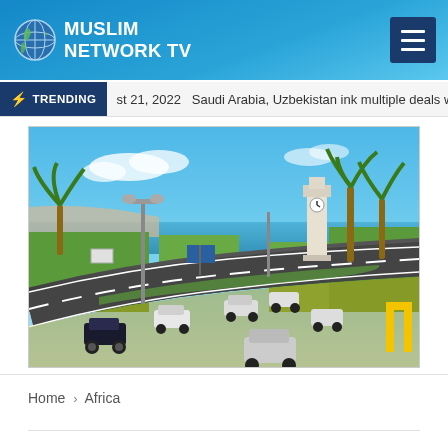MUSLIM NETWORK TV
TRENDING  st 21, 2022  Saudi Arabia, Uzbekistan ink multiple deals worth
[Figure (photo): Aerial/elevated view of a coastal road in an African/Middle Eastern city with palm trees, a white tower, green lawns, cars on a multi-lane road, and the sea visible in the background under a blue sky.]
Home > Africa